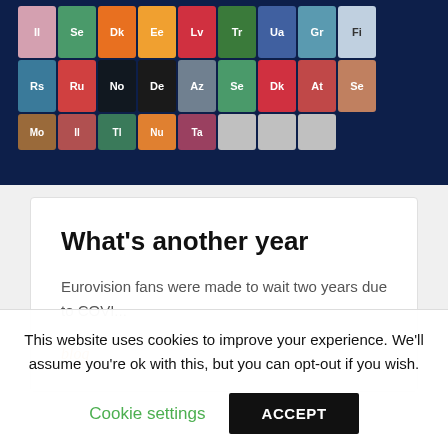[Figure (infographic): Periodic table style grid of country/language abbreviation tiles on dark navy background, showing colored cells with two-letter codes like Il, Se, Dk, Ee, Lv, Tr, Ua, Gr, Fi, Rs, Ru, No, De, Az, Se, Dk, At, Se, and partial row below]
What's another year
Eurovision fans were made to wait two years due to COVI...
blog
This website uses cookies to improve your experience. We'll assume you're ok with this, but you can opt-out if you wish.
Cookie settings
ACCEPT